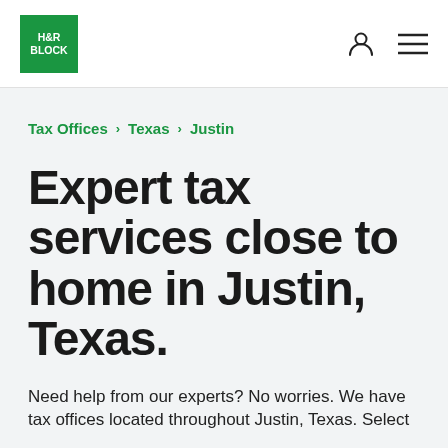[Figure (logo): H&R Block green square logo with white text]
H&R Block navigation header with person icon and menu icon
Tax Offices > Texas > Justin
Expert tax services close to home in Justin, Texas.
Need help from our experts? No worries. We have tax offices located throughout Justin, Texas. Select